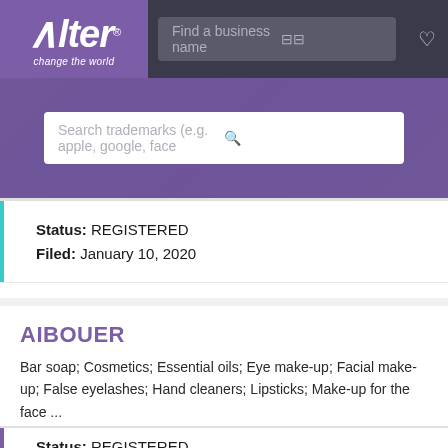[Figure (screenshot): Alter brand logo with purple background, tagline 'change the world', top navigation bar with search field 'Find a business name', filter icon, and heart icon]
[Figure (screenshot): Purple banner with search box showing placeholder text 'Search trademarks (e.g. apple, google, face' and search icon]
Status: REGISTERED
Filed: January 10, 2020
AIBOUER
Bar soap; Cosmetics; Essential oils; Eye make-up; Facial make-up; False eyelashes; Hand cleaners; Lipsticks; Make-up for the face ...
Status: REGISTERED